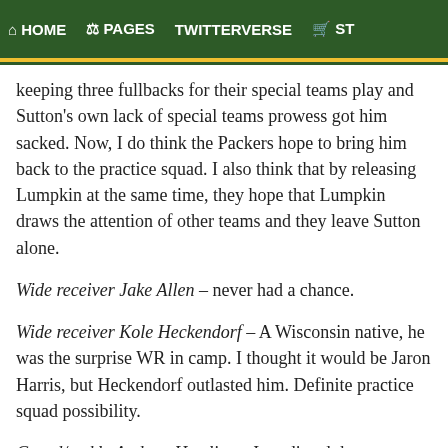HOME  PAGES  TWITTERVERSE  ST
keeping three fullbacks for their special teams play and Sutton's own lack of special teams prowess got him sacked. Now, I do think the Packers hope to bring him back to the practice squad. I also think that by releasing Lumpkin at the same time, they hope that Lumpkin draws the attention of other teams and they leave Sutton alone.
Wide receiver Jake Allen – never had a chance.
Wide receiver Kole Heckendorf – A Wisconsin native, he was the surprise WR in camp. I thought it would be Jaron Harris, but Heckendorf outlasted him. Definite practice squad possibility.
Guard/tackle Andrew Hartline – I predicted that an undrafted free agent offensive lineman would make the team, I just picked the wrong one. I thought Hartline would be the guy, but the choice was Evan Dietrich-Smith. Dietrich-Smith's experience in having played